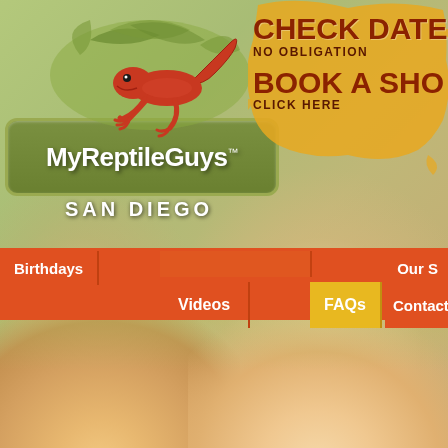[Figure (screenshot): MyReptileGuys San Diego website screenshot showing logo with gecko/lizard graphic, navigation bar with Birthdays, Videos, FAQs, Contact, Our S menu items, orange splash CTA buttons reading CHECK DATES NO OBLIGATION and BOOK A SHOW CLICK HERE, and background photo of smiling children]
MyReptileGuys™
SAN DIEGO
CHECK DATES
NO OBLIGATION
BOOK A SHOW
CLICK HERE
Birthdays
Videos
FAQs
Contact
Our S